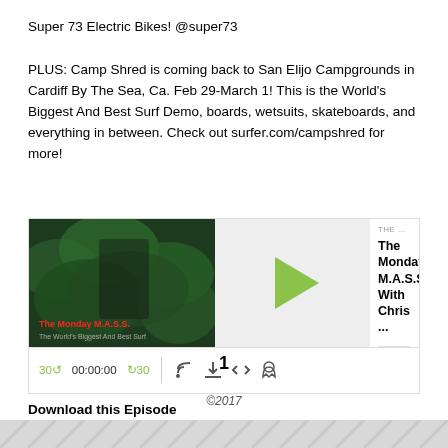Super 73 Electric Bikes! @super73
PLUS: Camp Shred is coming back to San Elijo Campgrounds in Cardiff By The Sea, Ca. Feb 29-March 1! This is the World's Biggest And Best Surf Demo, boards, wetsuits, skateboards, and everything in between. Check out surfer.com/campshred for more!
[Figure (screenshot): Podcast player widget showing 'The Monday M.A.S.S. With Chris...' with play button, thumbnail image, progress bar, and playback controls showing 00:00:00 timestamp]
Download this Episode
1
©2017